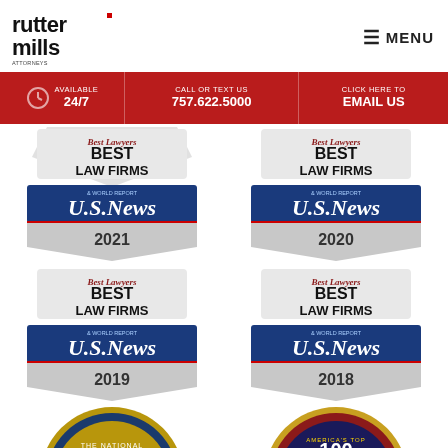[Figure (logo): Rutter Mills Attorneys at Law LLP logo in black text]
[Figure (infographic): Navigation menu button with hamburger icon and MENU text]
[Figure (infographic): Red contact bar: Available 24/7, Call or Text Us 757.622.5000, Click Here to Email Us]
[Figure (infographic): Best Lawyers Best Law Firms U.S. News & World Report 2021 badge]
[Figure (infographic): Best Lawyers Best Law Firms U.S. News & World Report 2020 badge]
[Figure (infographic): Best Lawyers Best Law Firms U.S. News & World Report 2019 badge]
[Figure (infographic): Best Lawyers Best Law Firms U.S. News & World Report 2018 badge]
[Figure (infographic): The National Top 100 badge (circular, gold/blue)]
[Figure (infographic): America's Top 100 Lifetime Achievement badge (circular, red/white/blue with eagle)]